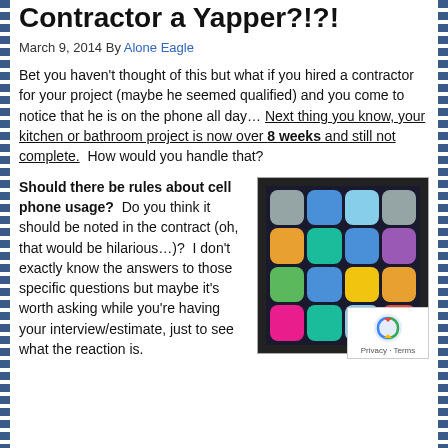Contractor a Yapper?!?!
March 9, 2014 By Alone Eagle
Bet you haven't thought of this but what if you hired a contractor for your project (maybe he seemed qualified) and you come to notice that he is on the phone all day... Next thing you know, your kitchen or bathroom project is now over 8 weeks and still not complete. How would you handle that?
Should there be rules about cell phone usage? Do you think it should be noted in the contract (oh, that would be hilarious...)? I don't exactly know the answers to those specific questions but maybe it's worth asking while you're having your interview/estimate, just to see what the reaction is.
[Figure (photo): Close-up photo of a smartphone showing a grid of colorful app icons on a dark screen]